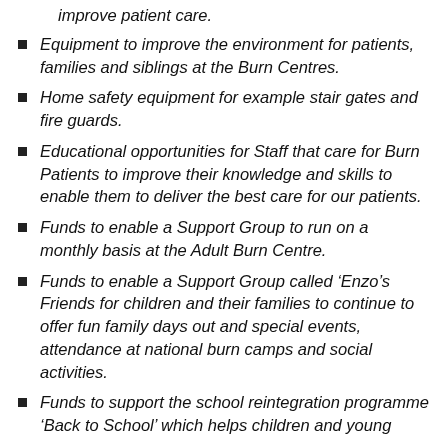improve patient care.
Equipment to improve the environment for patients, families and siblings at the Burn Centres.
Home safety equipment for example stair gates and fire guards.
Educational opportunities for Staff that care for Burn Patients to improve their knowledge and skills to enable them to deliver the best care for our patients.
Funds to enable a Support Group to run on a monthly basis at the Adult Burn Centre.
Funds to enable a Support Group called ‘Enzo’s Friends for children and their families to continue to offer fun family days out and special events, attendance at national burn camps and social activities.
Funds to support the school reintegration programme ‘Back to School’ which helps children and young